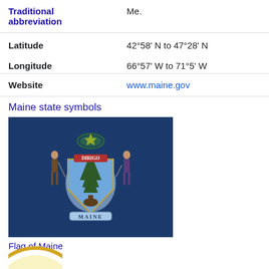| Traditional abbreviation | Me. |
| Latitude | 42°58’ N to 47°28’ N |
| Longitude | 66°57’ W to 71°5’ W |
| Website | www.maine.gov |
Maine state symbols
[Figure (photo): Flag of Maine on dark navy blue background showing the state coat of arms with two figures flanking a shield containing a pine tree and moose, topped by a star, with DIRIGO banner and MAINE scroll]
Flag of Maine
[Figure (photo): Partial view of circular Maine state seal at bottom of page]